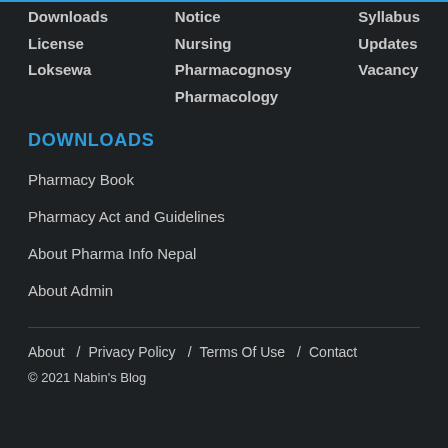Notice
Downloads
Syllabus
License
Nursing
Updates
Loksewa
Pharmacognosy
Vacancy
Pharmacology
DOWNLOADS
Pharmacy Book
Pharmacy Act and Guidelines
About Pharma Info Nepal
About Admin
About / Privacy Policy / Terms Of Use / Contact
© 2021 Nabin's Blog